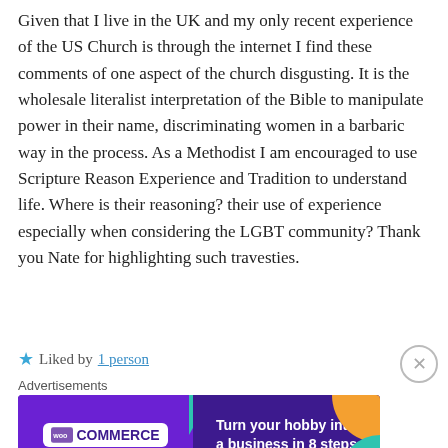Given that I live in the UK and my only recent experience of the US Church is through the internet I find these comments of one aspect of the church disgusting. It is the wholesale literalist interpretation of the Bible to manipulate power in their name, discriminating women in a barbaric way in the process. As a Methodist I am encouraged to use Scripture Reason Experience and Tradition to understand life. Where is their reasoning? their use of experience especially when considering the LGBT community? Thank you Nate for highlighting such travesties.
★ Liked by 1 person
Advertisements
[Figure (other): WooCommerce advertisement banner with purple background, teal and orange geometric shapes, WooCommerce logo on left, text 'Turn your hobby into a business in 8 steps' on right]